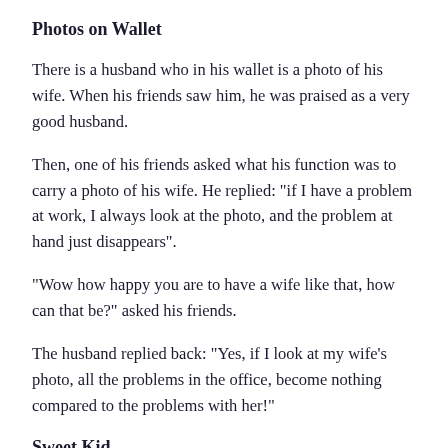Photos on Wallet
There is a husband who in his wallet is a photo of his wife. When his friends saw him, he was praised as a very good husband.
Then, one of his friends asked what his function was to carry a photo of his wife. He replied: "if I have a problem at work, I always look at the photo, and the problem at hand just disappears".
"Wow how happy you are to have a wife like that, how can that be?" asked his friends.
The husband replied back: "Yes, if I look at my wife's photo, all the problems in the office, become nothing compared to the problems with her!"
Sweet Kid...